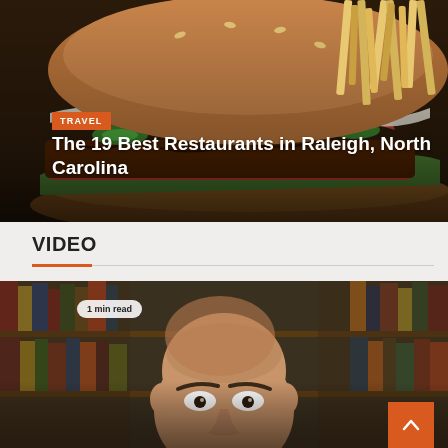[Figure (photo): Close-up photo of a gourmet burger with jalapeños, bacon, cream sauce on a bun, served with french fries on a dark plate]
TRAVEL
The 19 Best Restaurants in Raleigh, North Carolina
VIDEO
[Figure (photo): Video thumbnail showing a bald man in front of a bookshelf with a '1 min read' badge overlay]
1 min read